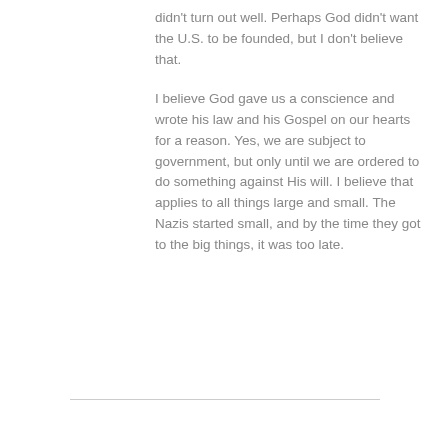didn't turn out well. Perhaps God didn't want the U.S. to be founded, but I don't believe that.
I believe God gave us a conscience and wrote his law and his Gospel on our hearts for a reason. Yes, we are subject to government, but only until we are ordered to do something against His will. I believe that applies to all things large and small. The Nazis started small, and by the time they got to the big things, it was too late.